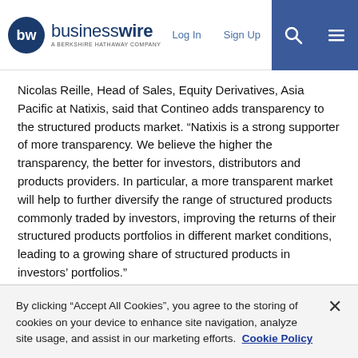businesswire — A BERKSHIRE HATHAWAY COMPANY | Log In | Sign Up
Nicolas Reille, Head of Sales, Equity Derivatives, Asia Pacific at Natixis, said that Contineo adds transparency to the structured products market. “Natixis is a strong supporter of more transparency. We believe the higher the transparency, the better for investors, distributors and products providers. In particular, a more transparent market will help to further diversify the range of structured products commonly traded by investors, improving the returns of their structured products portfolios in different market conditions, leading to a growing share of structured products in investors’ portfolios.”
Contineo Managing Director Mark Munoz expressed that in just seven months the firm had made enormous strides. “We went live just seven months ago and have had an enthusiastic response to
By clicking “Accept All Cookies”, you agree to the storing of cookies on your device to enhance site navigation, analyze site usage, and assist in our marketing efforts.  Cookie Policy